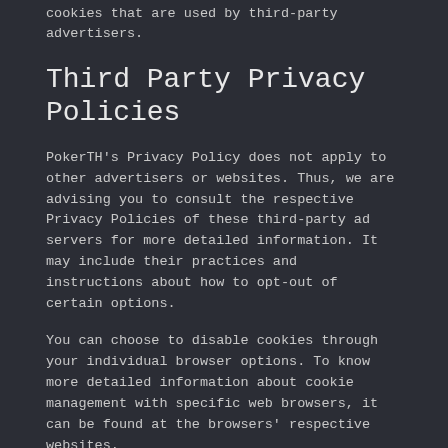cookies that are used by third-party advertisers.
Third Party Privacy Policies
PokerTH's Privacy Policy does not apply to other advertisers or websites. Thus, we are advising you to consult the respective Privacy Policies of these third-party ad servers for more detailed information. It may include their practices and instructions about how to opt-out of certain options.
You can choose to disable cookies through your individual browser options. To know more detailed information about cookie management with specific web browsers, it can be found at the browsers' respective websites.
CCPA Privacy Rights (Do Not Sell My Personal Information)
Under the CCPA, among other rights, California consumers have the right to:
Request that a business that collects a consumer's personal data disclose the categories and specific pieces of